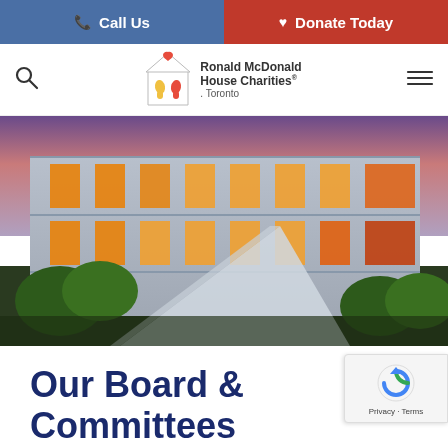Call Us | Donate Today
[Figure (logo): Ronald McDonald House Charities Toronto logo with house and heart icon]
[Figure (photo): Exterior photo of Ronald McDonald House building at dusk with warm orange-lit windows and trees in foreground]
Our Board & Committees